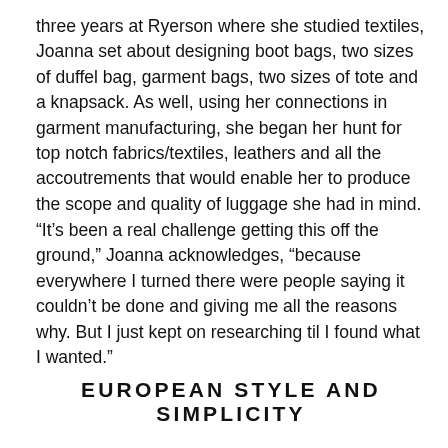three years at Ryerson where she studied textiles, Joanna set about designing boot bags, two sizes of duffel bag, garment bags, two sizes of tote and a knapsack. As well, using her connections in garment manufacturing, she began her hunt for top notch fabrics/textiles, leathers and all the accoutrements that would enable her to produce the scope and quality of luggage she had in mind.
“It’s been a real challenge getting this off the ground,” Joanna acknowledges, “because everywhere I turned there were people saying it couldn’t be done and giving me all the reasons why. But I just kept on researching til I found what I wanted.”
EUROPEAN STYLE AND SIMPLICITY